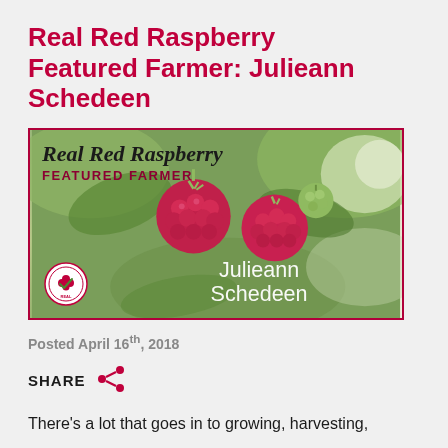Real Red Raspberry Featured Farmer: Julieann Schedeen
[Figure (photo): Photo of red raspberries on a plant with green leaves in background. Overlaid text reads 'Real Red Raspberry FEATURED FARMER' in top left and 'Julieann Schedeen' in bottom right. Real Red Raspberries logo badge in bottom left corner.]
Posted April 16th, 2018
SHARE
There's a lot that goes in to growing, harvesting,